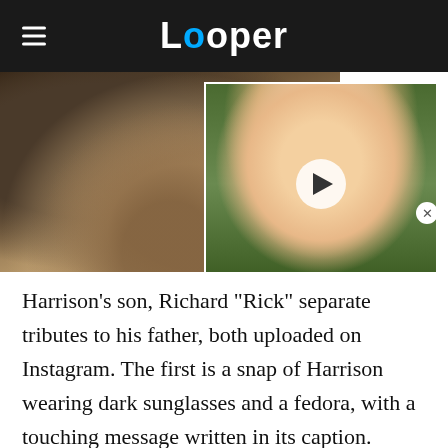Looper
[Figure (photo): Close-up photo of a man with a beard and grey stubble (left), overlapping with a photo of a smiling blonde woman with a video play button overlay (right)]
Harrison's son, Richard "Rick" separate tributes to his father, both uploaded on Instagram. The first is a snap of Harrison wearing dark sunglasses and a fedora, with a touching message written in its caption.
[Figure (other): HBO Max advertisement banner: STREAM ICONIC ENTERTAINMENT FOR JUST $9.99/MONTH with SIGN UP NOW button]